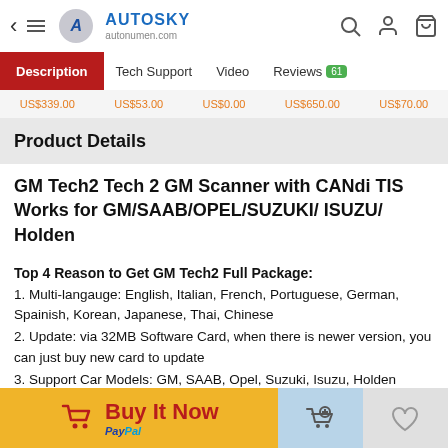AUTOSKY autonumen.com
Description | Tech Support | Video | Reviews 61
US$339.00  US$53.00  US$0.00  US$650.00  US$70.00
Product Details
GM Tech2 Tech 2 GM Scanner with CANdi TIS Works for GM/SAAB/OPEL/SUZUKI/ ISUZU/ Holden
Top 4 Reason to Get GM Tech2 Full Package:
1. Multi-langauge: English, Italian, French, Portuguese, German, Spainish, Korean, Japanese, Thai, Chinese
2. Update: via 32MB Software Card, when there is newer version, you can just buy new card to update
3. Support Car Models: GM, SAAB, Opel, Suzuki, Isuzu, Holden
Buy It Now